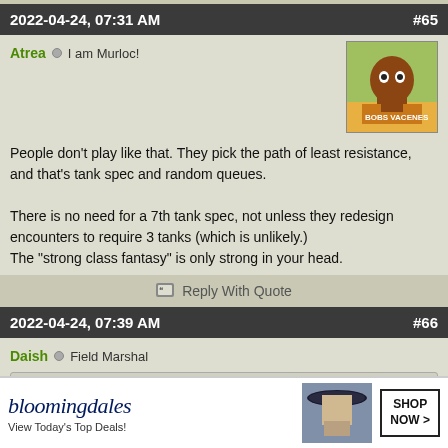2022-04-24, 07:31 AM   #65
Atrea  o  I am Murloc!
People don't play like that. They pick the path of least resistance, and that's tank spec and random queues.

There is no need for a 7th tank spec, not unless they redesign encounters to require 3 tanks (which is unlikely.)
The "strong class fantasy" is only strong in your head.
Reply With Quote
2022-04-24, 07:39 AM   #66
Daish  o  Field Marshal
Originally Posted by Biomega
It also seems weird that a reptilian race would have mammaries.
Ill correc...
humand...
[Figure (screenshot): Bloomingdales advertisement banner: 'bloomingdales - View Today's Top Deals!' with SHOP NOW > button and image of woman in hat]